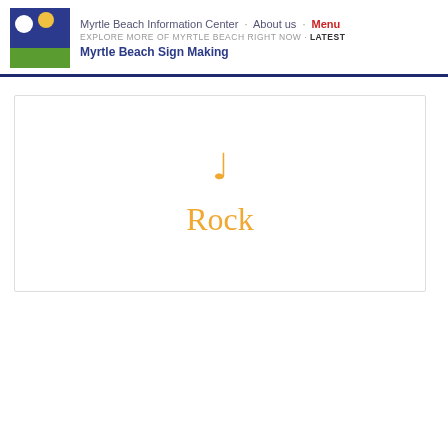Myrtle Beach Information Center · About us · Menu
EXPLORE MORE OF MYRTLE BEACH RIGHT NOW · Latest
Myrtle Beach Sign Making
[Figure (other): Card with a musical note icon and the word 'Rock' in orange, centered on a white rectangle with border]